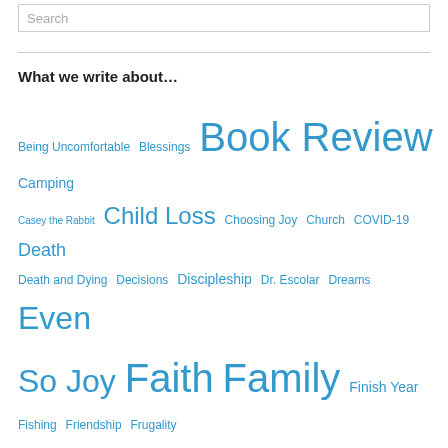Search
What we write about…
Being Uncomfortable Blessings Book Review Camping Casey the Rabbit Child Loss Choosing Joy Church COVID-19 Death Death and Dying Decisions Discipleship Dr. Escolar Dreams Even So Joy Faith Family Finish Year Fishing Friendship Frugality Goals God Grace Gratitude Hannah's Law HB730 Healing Heaven Hershey Hope House Projects Hunter's Hope Inauguration Intentionality Joy Krabbe Krabbe Awareness Lessons Learned Leukodystrophy Life Love Marriage Memories Ministry Missions Motherhood Moving Music